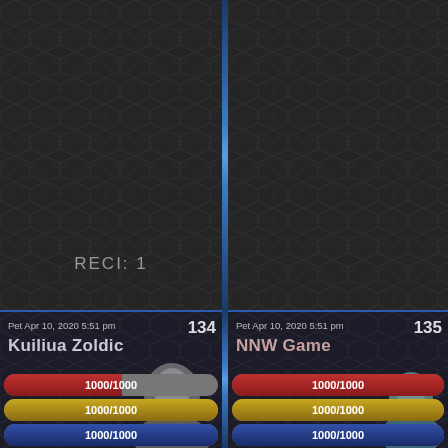[Figure (screenshot): Game UI screenshot showing two panels with hexagonal/diamond dark background pattern. Left panel shows 'RECI: 1' text in the lower portion. A vertical blue glowing divider separates left and right panels.]
RECI: 1
Pet Apr 10, 2020 5:51 pm
134
Kuiliua Zoldic
1000/1000
1000/1000
1000/1000
Pet Apr 10, 2020 5:51 pm
135
NNW Game
1000/1000
1000/1000
1000/1000